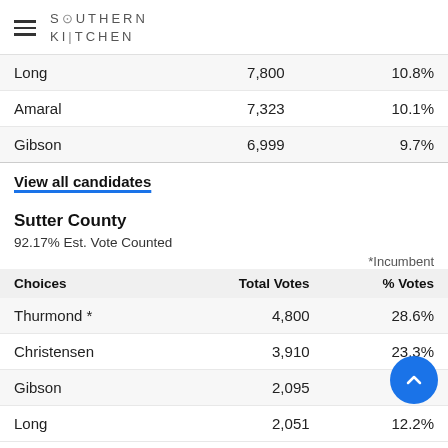Southern Kitchen (logo/nav header)
| Choices | Total Votes | % Votes |
| --- | --- | --- |
| Long | 7,800 | 10.8% |
| Amaral | 7,323 | 10.1% |
| Gibson | 6,999 | 9.7% |
View all candidates
Sutter County
92.17% Est. Vote Counted
*Incumbent
| Choices | Total Votes | % Votes |
| --- | --- | --- |
| Thurmond * | 4,800 | 28.6% |
| Christensen | 3,910 | 23.3% |
| Gibson | 2,095 | 12.5% |
| Long | 2,051 | 12.2% |